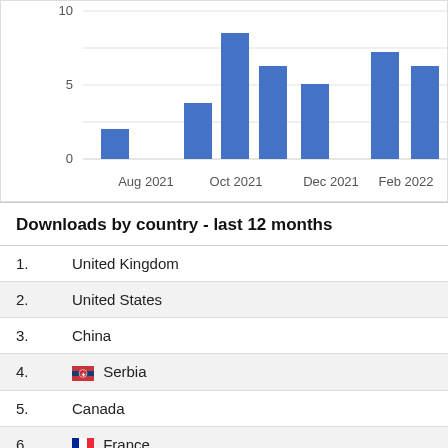[Figure (bar-chart): Downloads over time]
Downloads by country - last 12 months
1. United Kingdom
2. United States
3. China
4. Serbia
5. Canada
6. France
7. Russian Federation
8. Ukraine
9. Belgium